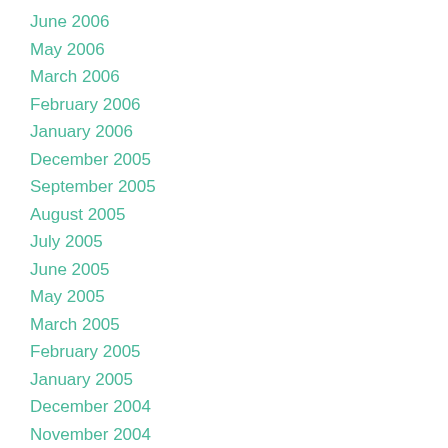June 2006
May 2006
March 2006
February 2006
January 2006
December 2005
September 2005
August 2005
July 2005
June 2005
May 2005
March 2005
February 2005
January 2005
December 2004
November 2004
September 2004
August 2004
May 2004